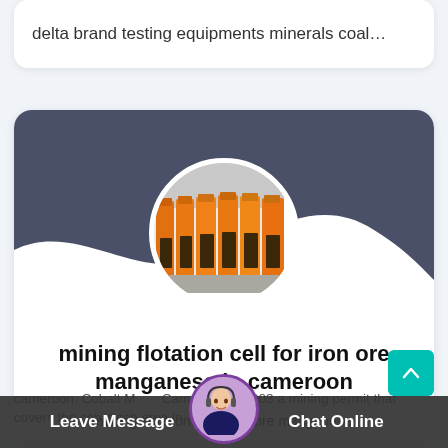delta brand testing equipments minerals coal…
[Figure (photo): Circular photo of orange industrial flotation cell equipment machines in a factory setting, shown against a dark navy wave-shaped card background]
mining flotation cell for iron ore manganese in cameroon
mining flotation cell for iron ore manganese cameroon. Cobalt Mining in Cameroon In 2003 a mining permit that covers the cobaltrich area in
Leave Message   Chat Online